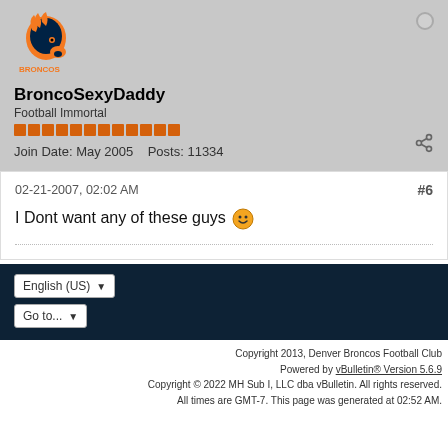[Figure (photo): Denver Broncos logo avatar]
BroncoSexyDaddy
Football Immortal
Join Date: May 2005   Posts: 11334
02-21-2007, 02:02 AM
#6
I Dont want any of these guys 😊
English (US)
Go to...
Copyright 2013, Denver Broncos Football Club
Powered by vBulletin® Version 5.6.9
Copyright © 2022 MH Sub I, LLC dba vBulletin. All rights reserved.
All times are GMT-7. This page was generated at 02:52 AM.